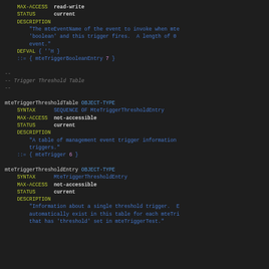MIB/SNMP object type definitions snippet showing mteTriggerThresholdTable and mteTriggerThresholdEntry OBJECT-TYPE definitions in MIB syntax
MAX-ACCESS read-write STATUS current DESCRIPTION 'The mteEventName of the event to invoke when mte boolean and this trigger fires. A length of 0 event.' DEFVAL { ''H } ::= { mteTriggerBooleanEntry 7 }
-- Trigger Threshold Table
mteTriggerThresholdTable OBJECT-TYPE SYNTAX SEQUENCE OF MteTriggerThresholdEntry MAX-ACCESS not-accessible STATUS current DESCRIPTION 'A table of management event trigger information triggers.' ::= { mteTrigger 6 }
mteTriggerThresholdEntry OBJECT-TYPE SYNTAX MteTriggerThresholdEntry MAX-ACCESS not-accessible STATUS current DESCRIPTION 'Information about a single threshold trigger. automatically exist in this table for each mteTri that has threshold set in mteTriggerTest.'